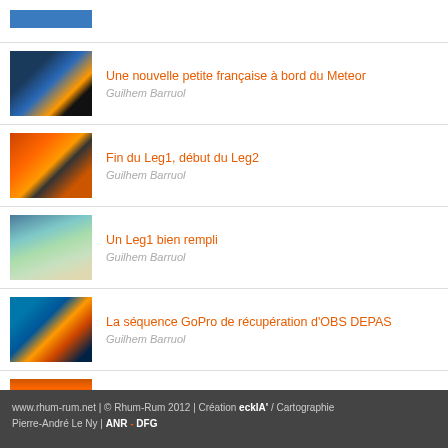[Figure (photo): Partial thumbnail image at top, cut off]
Une nouvelle petite française à bord du Meteor
Guilhem Barruol
Fin du Leg1, début du Leg2
Guilhem Barruol
Un Leg1 bien rempli
Guilhem Barruol
La séquence GoPro de récupération d'OBS DEPAS
Guilhem Barruol
Baleines en vue!
Yann Capdeville
www.rhum-rum.net | © Rhum-Rum 2012 | Création eckIA' / Cartographie Pierre-André Le Ny | ANR - DFG